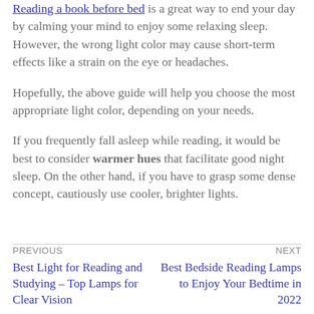Reading a book before bed is a great way to end your day by calming your mind to enjoy some relaxing sleep. However, the wrong light color may cause short-term effects like a strain on the eye or headaches.
Hopefully, the above guide will help you choose the most appropriate light color, depending on your needs.
If you frequently fall asleep while reading, it would be best to consider warmer hues that facilitate good night sleep. On the other hand, if you have to grasp some dense concept, cautiously use cooler, brighter lights.
PREVIOUS: Best Light for Reading and Studying – Top Lamps for Clear Vision | NEXT: Best Bedside Reading Lamps to Enjoy Your Bedtime in 2022